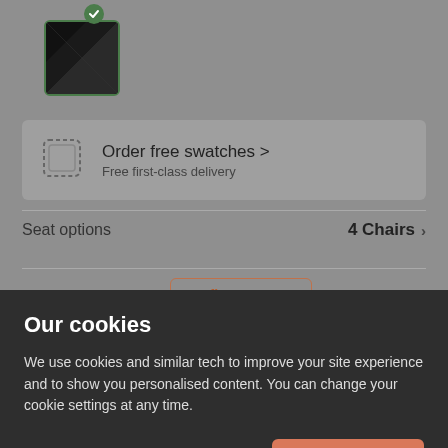[Figure (screenshot): Product swatch thumbnail showing black fabric with green checkmark]
Order free swatches > Free first-class delivery
Seat options   4 Chairs >
£399.99   0% finance from £14.99/mo >
Our cookies
We use cookies and similar tech to improve your site experience and to show you personalised content. You can change your cookie settings at any time.
Cookies settings
Accept all